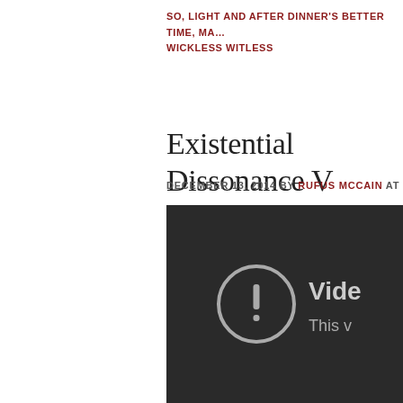SO, LIGHT AND AFTER DINNER'S BETTER TIME, MA… WICKLESS WITLESS
Existential Dissonance V
DECEMBER 13, 2014 BY RUFUS MCCAIN AT 4:21 PM
[Figure (screenshot): Dark video player screenshot showing an error icon (circle with exclamation mark) and partial text 'Vide' and 'This v' indicating a video unavailable message]